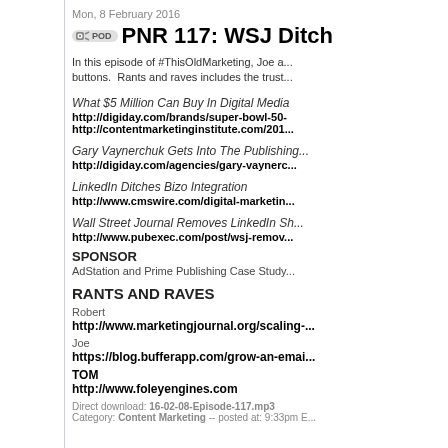Mon, 8 February 2016
PNR 117: WSJ Ditch...
In this episode of #ThisOldMarketing, Joe a... buttons. Rants and raves includes the trust...
What $5 Million Can Buy In Digital Media
http://digiday.com/brands/super-bowl-50-
http://contentmarketinginstitute.com/201...
Gary Vaynerchuk Gets Into The Publishing...
http://digiday.com/agencies/gary-vaynerc...
LinkedIn Ditches Bizo Integration
http://www.cmswire.com/digital-marketin...
Wall Street Journal Removes LinkedIn Sh...
http://www.pubexec.com/post/wsj-remov...
SPONSOR
AdStation and Prime Publishing Case Study...
RANTS AND RAVES
Robert
http://www.marketingjournal.org/scaling-...
Joe
https://blog.bufferapp.com/grow-an-emai...
TOM
http://www.foleyengines.com
Direct download: 16-02-08-Episode-117.mp3
Category: Content Marketing -- posted at: 9:33pm E...